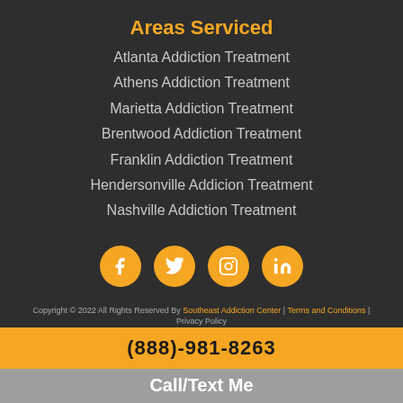Areas Serviced
Atlanta Addiction Treatment
Athens Addiction Treatment
Marietta Addiction Treatment
Brentwood Addiction Treatment
Franklin Addiction Treatment
Hendersonville Addicion Treatment
Nashville Addiction Treatment
[Figure (infographic): Four social media icons: Facebook, Twitter, Instagram, LinkedIn — each in a golden/amber circle]
Copyright © 2022 All Rights Reserved By Southeast Addiction Center | Terms and Conditions | Privacy Policy
(888)-981-8263
Call/Text Me